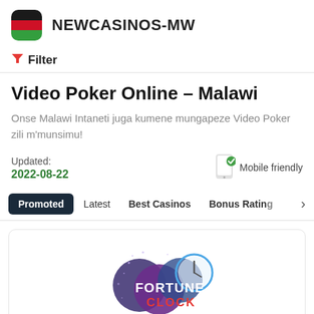NEWCASINOS-MW
Filter
Video Poker Online - Malawi
Onse Malawi Intaneti juga kumene mungapeze Video Poker zili m'munsimu!
Updated: 2022-08-22
Mobile friendly
Promoted
Latest
Best Casinos
Bonus Rating
[Figure (logo): Fortune Clock casino logo with colorful spheres and clock design]
Launched 30.Nov.2019
2.8